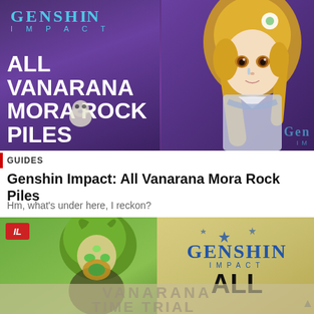[Figure (screenshot): Genshin Impact game thumbnail showing anime character (blonde girl) with text ALL VANARANA MORA ROCK PILES overlaid on purple/dark fantasy background, with Genshin Impact logo]
GUIDES
Genshin Impact: All Vanarana Mora Rock Piles
Hm, what's under here, I reckon?
[Figure (screenshot): Second Genshin Impact thumbnail showing green-haired anime character on left and Genshin Impact logo with text ALL on right, with VANARANA TIME TRIAL watermark text]